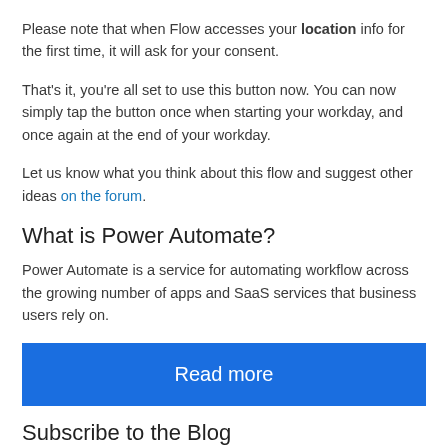Please note that when Flow accesses your location info for the first time, it will ask for your consent.
That's it, you're all set to use this button now. You can now simply tap the button once when starting your workday, and once again at the end of your workday.
Let us know what you think about this flow and suggest other ideas on the forum.
What is Power Automate?
Power Automate is a service for automating workflow across the growing number of apps and SaaS services that business users rely on.
[Figure (other): Blue 'Read more' button]
Subscribe to the Blog